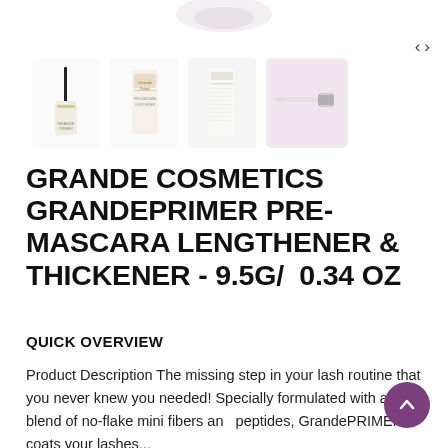[Figure (photo): Four product thumbnail images of Grande Cosmetics GrandePrimer Pre-Mascara, shown from different angles and packaging. Navigation arrows (< >) visible on right side. A partially visible blurry product image at top center.]
GRANDE COSMETICS GRANDEPRIMER PRE-MASCARA LENGTHENER & THICKENER - 9.5G/ 0.34 OZ
QUICK OVERVIEW
Product Description The missing step in your lash routine that you never knew you needed! Specially formulated with a blend of no-flake mini fibers and peptides, GrandePRIMER coats your lashes...